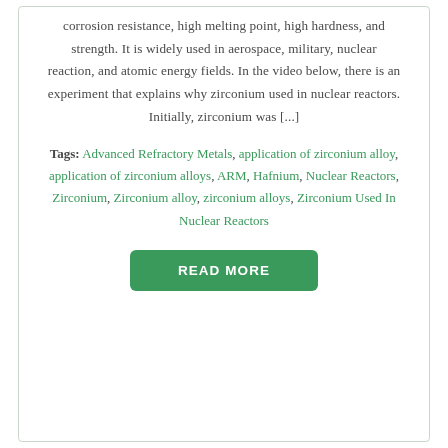corrosion resistance, high melting point, high hardness, and strength. It is widely used in aerospace, military, nuclear reaction, and atomic energy fields. In the video below, there is an experiment that explains why zirconium used in nuclear reactors. Initially, zirconium was [...]
Tags: Advanced Refractory Metals, application of zirconium alloy, application of zirconium alloys, ARM, Hafnium, Nuclear Reactors, Zirconium, Zirconium alloy, zirconium alloys, Zirconium Used In Nuclear Reactors
READ MORE